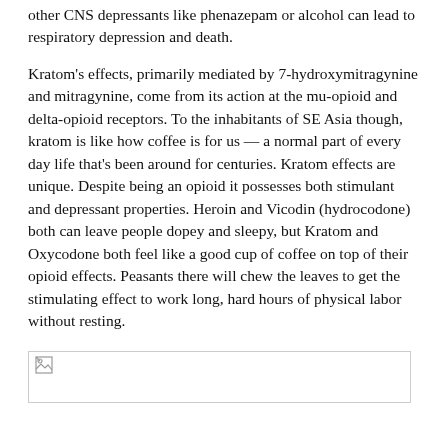other CNS depressants like phenazepam or alcohol can lead to respiratory depression and death.
Kratom's effects, primarily mediated by 7-hydroxymitragynine and mitragynine, come from its action at the mu-opioid and delta-opioid receptors. To the inhabitants of SE Asia though, kratom is like how coffee is for us — a normal part of every day life that's been around for centuries. Kratom effects are unique. Despite being an opioid it possesses both stimulant and depressant properties. Heroin and Vicodin (hydrocodone) both can leave people dopey and sleepy, but Kratom and Oxycodone both feel like a good cup of coffee on top of their opioid effects. Peasants there will chew the leaves to get the stimulating effect to work long, hard hours of physical labor without resting.
[Figure (photo): Broken image placeholder — image failed to load]